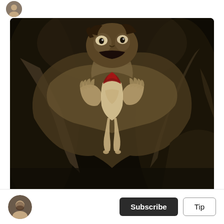[Figure (photo): Goya's painting 'Saturn Devouring His Son' — a dark, dramatic painting showing a large figure gripping and consuming a smaller pale human body against a very dark background.]
14 Unsettling Paintings by Goya That Would Leave You Anxious
Subscribe  Tip